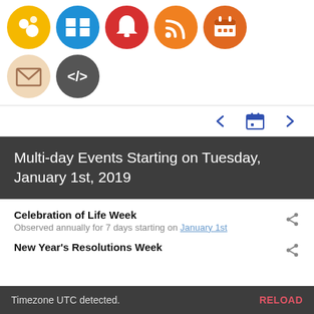[Figure (screenshot): App icon grid showing colored circular icons: yellow dots/circles icon, blue Windows icon, red bell/notification icon, orange RSS feed icon, orange-red calendar icon (row 1); peach/beige email/envelope icon, dark gray code bracket icon (row 2)]
[Figure (screenshot): Navigation bar with blue left arrow, blue calendar icon, and blue right arrow]
Multi-day Events Starting on Tuesday, January 1st, 2019
Celebration of Life Week
Observed annually for 7 days starting on January 1st
New Year's Resolutions Week
Timezone UTC detected.    RELOAD